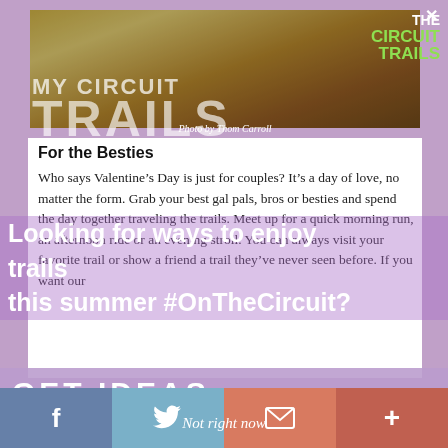[Figure (photo): People on a trail with autumn leaves on the ground, magazine-style header image with MY CIRCUIT TRAILS text overlay]
Photo by Thom Carroll
THE CIRCUIT TRAILS
For the Besties
Who says Valentine’s Day is just for couples? It’s a day of love, no matter the form. Grab your best gal pals, bros or besties and spend the day together traveling the trails. Meet up for a quick morning run, an afternoon ride or an evening stroll. You can always visit your favorite trail or show a friend a trail they’ve never seen before. If you want our
Looking for ways to enjoy trails this summer #OnTheCircuit?
GET IDEAS
Not right now